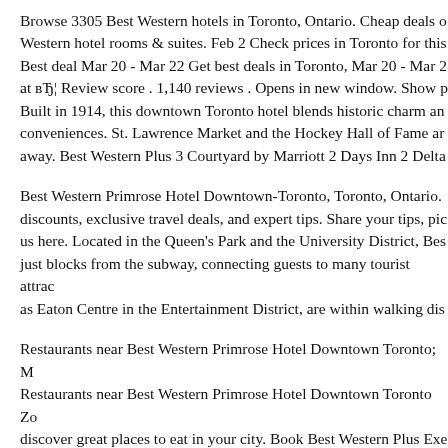Browse 3305 Best Western hotels in Toronto, Ontario. Cheap deals on Best Western hotel rooms & suites. Feb 2 Check prices in Toronto for this Best deal Mar 20 - Mar 22 Get best deals in Toronto, Mar 20 - Mar 22 at вЂ¦ Review score . 1,140 reviews . Opens in new window. Show p Built in 1914, this downtown Toronto hotel blends historic charm and conveniences. St. Lawrence Market and the Hockey Hall of Fame are away. Best Western Plus 3 Courtyard by Marriott 2 Days Inn 2 Delta
Best Western Primrose Hotel Downtown-Toronto, Toronto, Ontario. discounts, exclusive travel deals, and expert tips. Share your tips, pic us here. Located in the Queen's Park and the University District, Bes just blocks from the subway, connecting guests to many tourist attrac as Eaton Centre in the Entertainment District, are within walking dis
Restaurants near Best Western Primrose Hotel Downtown Toronto; M Restaurants near Best Western Primrose Hotel Downtown Toronto Zo discover great places to eat in your city. Book Best Western Plus Exe TripAdvisor: See 739 traveller reviews, 94 candid photos, and great o Executive Inn, ranked #61 of 141 hotels in Toronto and rated 4 of 5 a